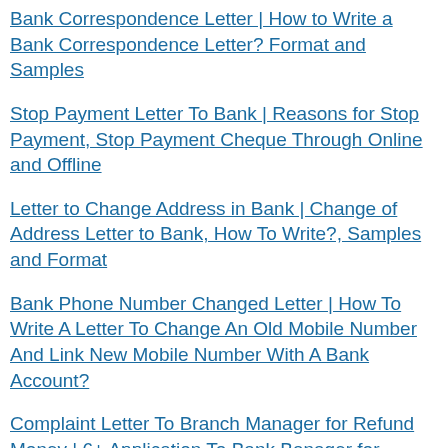Bank Correspondence Letter | How to Write a Bank Correspondence Letter? Format and Samples
Stop Payment Letter To Bank | Reasons for Stop Payment, Stop Payment Cheque Through Online and Offline
Letter to Change Address in Bank | Change of Address Letter to Bank, How To Write?, Samples and Format
Bank Phone Number Changed Letter | How To Write A Letter To Change An Old Mobile Number And Link New Mobile Number With A Bank Account?
Complaint Letter To Branch Manager for Refund Money | 6+ Application To Bank Banager for Refund of Money, Samples